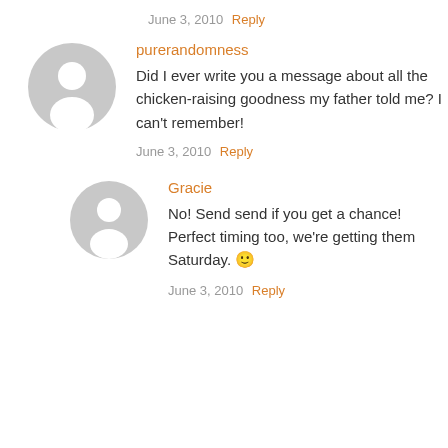June 3, 2010  Reply
[Figure (illustration): Gray default user avatar circle with person silhouette]
purerandomness
Did I ever write you a message about all the chicken-raising goodness my father told me? I can't remember!
June 3, 2010  Reply
[Figure (illustration): Gray default user avatar circle with person silhouette]
Gracie
No! Send send if you get a chance! Perfect timing too, we're getting them Saturday. 🙂
June 3, 2010  Reply